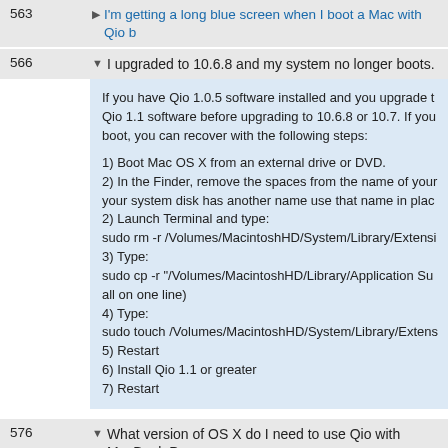563 ▶ I'm getting a long blue screen when I boot a Mac with Qio b...
566 ▼ I upgraded to 10.6.8 and my system no longer boots.
If you have Qio 1.0.5 software installed and you upgrade to Qio 1.1 software before upgrading to 10.6.8 or 10.7. If you cannot boot, you can recover with the following steps:

1) Boot Mac OS X from an external drive or DVD.
2) In the Finder, remove the spaces from the name of your system disk has another name use that name in place
2) Launch Terminal and type:
sudo rm -r /Volumes/MacintoshHD/System/Library/Extensi...
3) Type:
sudo cp -r "/Volumes/MacintoshHD/Library/Application Su... all on one line)
4) Type:
sudo touch /Volumes/MacintoshHD/System/Library/Extens...
5) Restart
6) Install Qio 1.1 or greater
7) Restart
576 ▼ What version of OS X do I need to use Qio with MacBook P...
OS X 10.5.8-10.9 required for Mac Pro and MacBook Pro...
OS X 10.6.8-10.9 required for MacBook Pro (Thunderbolt)...